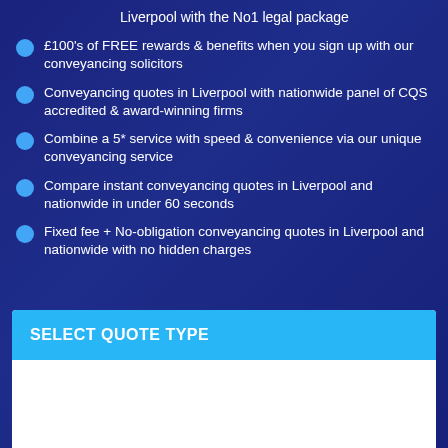Liverpool with the No1 legal package
£100's of FREE rewards & benefits when you sign up with our conveyancing solicitors
Conveyancing quotes in Liverpool with nationwide panel of CQS accredited & award-winning firms
Combine a 5* service with speed & convenience via our unique conveyancing service
Compare instant conveyancing quotes in Liverpool and nationwide in under 60 seconds
Fixed fee + No-obligation conveyancing quotes in Liverpool and nationwide with no hidden charges
SELECT QUOTE TYPE